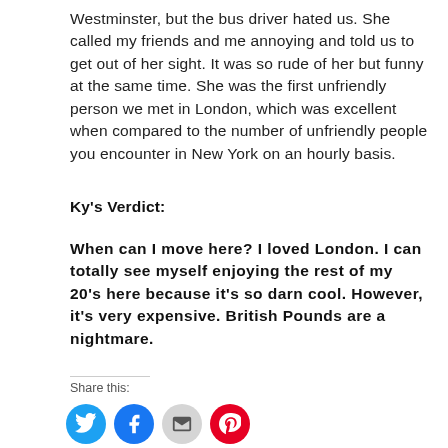Westminster, but the bus driver hated us. She called my friends and me annoying and told us to get out of her sight. It was so rude of her but funny at the same time. She was the first unfriendly person we met in London, which was excellent when compared to the number of unfriendly people you encounter in New York on an hourly basis.
Ky's Verdict:
When can I move here? I loved London. I can totally see myself enjoying the rest of my 20's here because it's so darn cool. However, it's very expensive. British Pounds are a nightmare.
Share this: